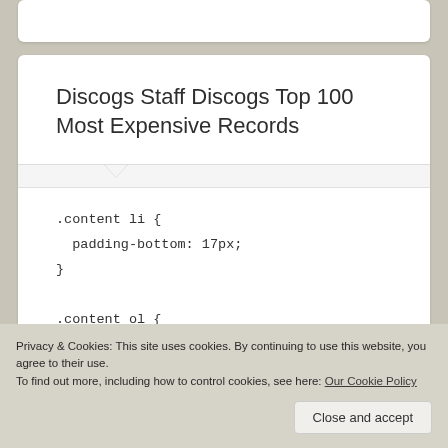Discogs Staff Discogs Top 100 Most Expensive Records
.content li {
padding-bottom: 17px;
}
.content ol {
counter-reset: my-awesome-counter 101;
list-style: none;
Privacy & Cookies: This site uses cookies. By continuing to use this website, you agree to their use.
To find out more, including how to control cookies, see here: Our Cookie Policy
Close and accept
position: relative;